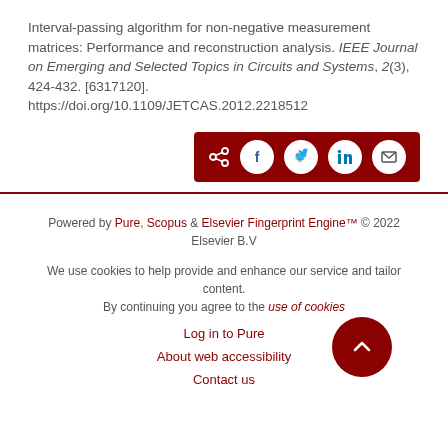Interval-passing algorithm for non-negative measurement matrices: Performance and reconstruction analysis. IEEE Journal on Emerging and Selected Topics in Circuits and Systems, 2(3), 424-432. [6317120]. https://doi.org/10.1109/JETCAS.2012.2218512
[Figure (other): Share buttons bar with dark red background containing share icon, Facebook, Twitter, LinkedIn, and Email circular icons]
Powered by Pure, Scopus & Elsevier Fingerprint Engine™ © 2022 Elsevier B.V
We use cookies to help provide and enhance our service and tailor content. By continuing you agree to the use of cookies
Log in to Pure
About web accessibility
Contact us